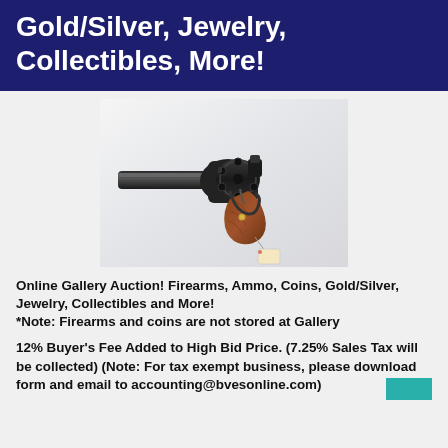Gold/Silver, Jewelry, Collectibles, More!
[Figure (photo): A black steel revolver handgun with brown wooden grip and an auction tag attached, photographed on a white cloth background.]
Online Gallery Auction! Firearms, Ammo, Coins, Gold/Silver, Jewelry, Collectibles and More! *Note: Firearms and coins are not stored at Gallery
12% Buyer's Fee Added to High Bid Price. (7.25% Sales Tax will be collected) (Note: For tax exempt business, please download form and email to accounting@bvesonline.com)